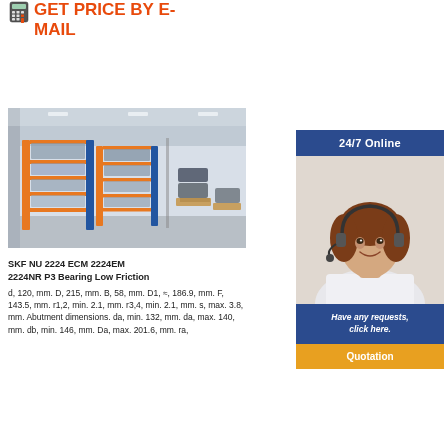GET PRICE BY E-MAIL
[Figure (photo): Warehouse interior with industrial shelving units loaded with bearing inventory, pallets stacked in the background]
SKF NU 2224 ECM 2224EM 2224NR P3 Bearing Low Friction d, 120, mm. D, 215, mm. B, 58, mm. D1, ≈, 186.9, mm. F, 143.5, mm. r1,2, min. 2.1, mm. r3,4, min. 2.1, mm. s, max. 3.8, mm. Abutment dimensions. da, min. 132, mm. da, max. 140, mm. db, min. 146, mm. Da, max. 201.6, mm. ra,
[Figure (photo): Customer service agent woman with headset smiling, 24/7 online support banner at top, have any requests click here message in blue box, Quotation button in orange]